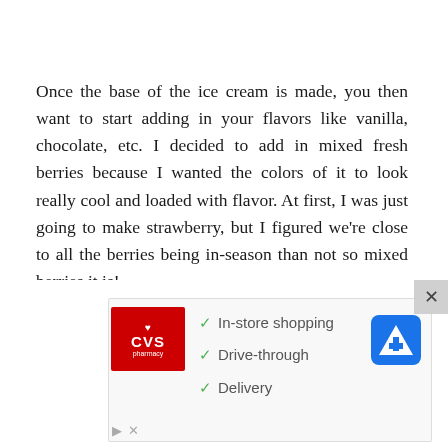Once the base of the ice cream is made, you then want to start adding in your flavors like vanilla, chocolate, etc. I decided to add in mixed fresh berries because I wanted the colors of it to look really cool and loaded with flavor. At first, I was just going to make strawberry, but I figured we're close to all the berries being in-season than not so mixed berries it is!
Every time I use fresh berries I immediately rinse them. Berries have the kind of flesh where things can stick ver
[Figure (other): CVS Pharmacy advertisement banner showing logo and checkmarks for In-store shopping, Drive-through, and Delivery services, with a map/navigation icon]